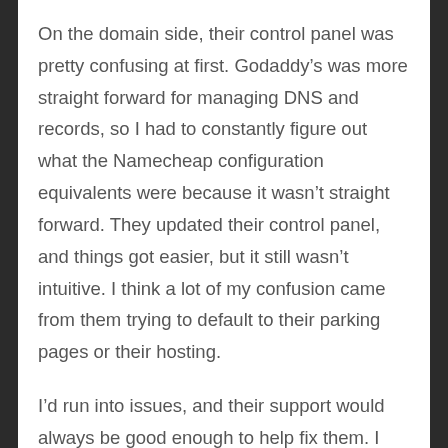On the domain side, their control panel was pretty confusing at first. Godaddy’s was more straight forward for managing DNS and records, so I had to constantly figure out what the Namecheap configuration equivalents were because it wasn’t straight forward. They updated their control panel, and things got easier, but it still wasn’t intuitive. I think a lot of my confusion came from them trying to default to their parking pages or their hosting.
I’d run into issues, and their support would always be good enough to help fix them. I then ran into an issue with setting up a txt record. The fix required them to manually enter the entry on their side due to a bug in their control panel that they still haven’t